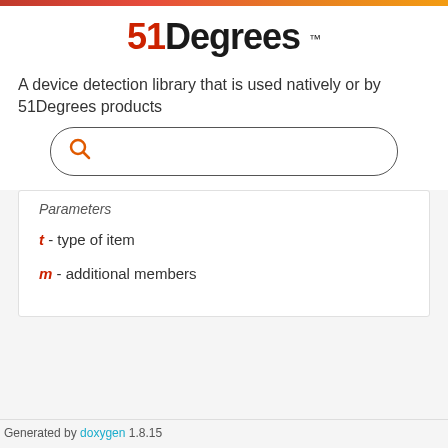[Figure (logo): 51Degrees logo with trademark symbol]
A device detection library that is used natively or by 51Degrees products
[Figure (screenshot): Search box with orange search icon]
Parameters
t - type of item
m - additional members
Generated by doxygen 1.8.15